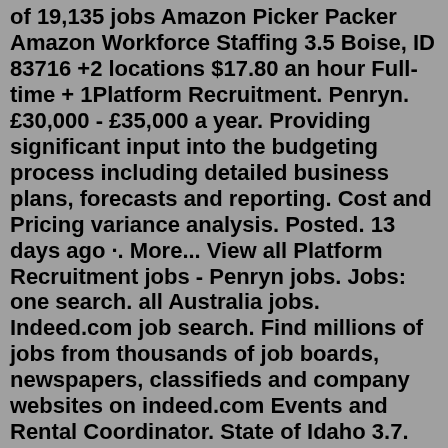of 19,135 jobs Amazon Picker Packer Amazon Workforce Staffing 3.5 Boise, ID 83716 +2 locations $17.80 an hour Full-time + 1Platform Recruitment. Penryn. £30,000 - £35,000 a year. Providing significant input into the budgeting process including detailed business plans, forecasts and reporting. Cost and Pricing variance analysis. Posted. 13 days ago ·. More... View all Platform Recruitment jobs - Penryn jobs. Jobs: one search. all Australia jobs. Indeed.com job search. Find millions of jobs from thousands of job boards, newspapers, classifieds and company websites on indeed.com Events and Rental Coordinator. State of Idaho 3.7. Boise, ID 83720 (Downtown area) $46,030 a year. Full-time + 1. This position will manage all internal Idaho State Museum and external events; coordinate equipment and facility set-up for meetings, conferences, and special…. Posted 10 days ago ·. Warehouse Worker - Laval. new. Amazon Workforce Staffing 3.5. Laval, QC. $17.60–$19.60 an hour. Part-time + 1. Morning shift + 2. Overnight. Early Morning. Day. Evening.